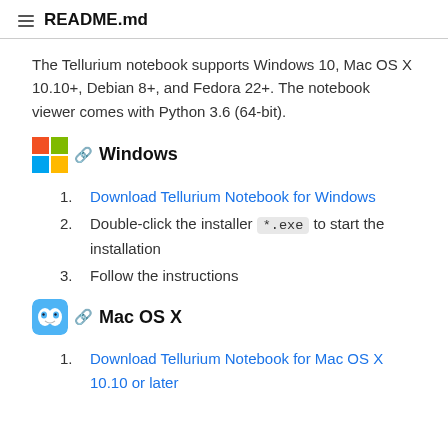README.md
The Tellurium notebook supports Windows 10, Mac OS X 10.10+, Debian 8+, and Fedora 22+. The notebook viewer comes with Python 3.6 (64-bit).
Windows
Download Tellurium Notebook for Windows
Double-click the installer *.exe to start the installation
Follow the instructions
Mac OS X
Download Tellurium Notebook for Mac OS X 10.10 or later